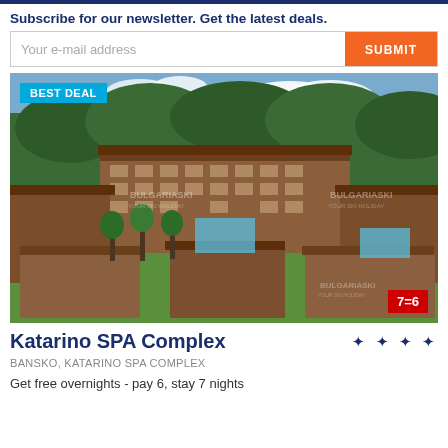Subscribe for our newsletter. Get the latest deals.
[Figure (other): Email subscription form with text input and orange SUBMIT button]
[Figure (photo): Aerial view of Katarino SPA Complex hotel buildings surrounded by forest, with pools visible. BEST DEAL badge top left, 7=6 deal badge bottom right. BulgariaSki watermarks visible.]
Katarino SPA Complex
BANSKO, KATARINO SPA COMPLEX
Get free overnights - pay 6, stay 7 nights